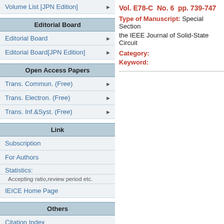Volume List [JPN Edition]
Editorial Board
Editorial Board
Editorial Board[JPN Edition]
Open Access Papers
Trans. Commun. (Free)
Trans. Electron. (Free)
Trans. Inf.&Syst. (Free)
Link
Subscription
For Authors
Statistics:
Accepting ratio,review period etc.
IEICE Home Page
Others
Citation Index
Vol. E78-C  No. 6  pp. 739-747
Type of Manuscript:  Special Section the IEEE Journal of Solid-State Circuit
Category:
Keyword: